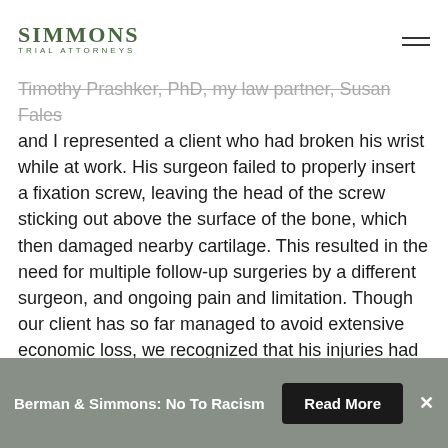SIMMONS TRIAL ATTORNEYS
Timothy Prashker, PhD, my law partner, Susan Fales and I represented a client who had broken his wrist while at work. His surgeon failed to properly insert a fixation screw, leaving the head of the screw sticking out above the surface of the bone, which then damaged nearby cartilage. This resulted in the need for multiple follow-up surgeries by a different surgeon, and ongoing pain and limitation. Though our client has so far managed to avoid extensive economic loss, we recognized that his injuries had a profound impact on his quality of life.
As this case progressed through the Prelitigation Screening Panel and Superior Court discovery, we
Berman & Simmons: No To Racism  Read More  ×